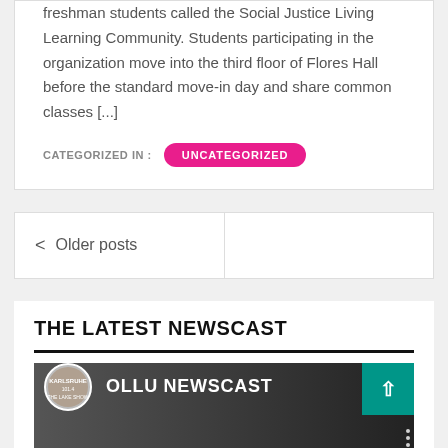freshman students called the Social Justice Living Learning Community. Students participating in the organization move into the third floor of Flores Hall before the standard move-in day and share common classes [...]
CATEGORIZED IN :
UNCATEGORIZED
< Older posts
THE LATEST NEWSCAST
[Figure (screenshot): Video thumbnail for OLLU NEWSCAST with a circular logo on the left, white bold text reading 'OLLU NEWSCAST', a teal back-to-top button in top-right, and dark background.]